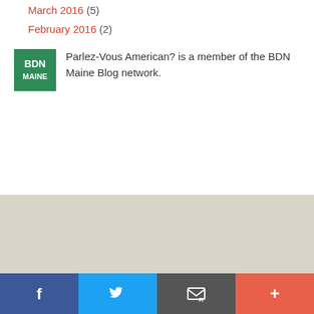March 2016 (5)
February 2016 (2)
Parlez-Vous American? is a member of the BDN Maine Blog network.
[Figure (logo): BDN Maine logo — green square with white text BDN MAINE]
Facebook, Twitter, Email, More social share buttons